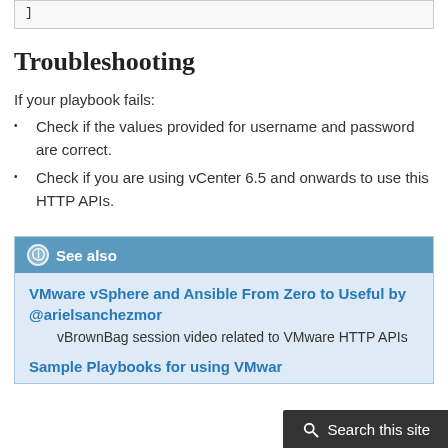]
Troubleshooting
If your playbook fails:
Check if the values provided for username and password are correct.
Check if you are using vCenter 6.5 and onwards to use this HTTP APIs.
See also
VMware vSphere and Ansible From Zero to Useful by @arielsanchezmor
vBrownBag session video related to VMware HTTP APIs
Sample Playbooks for using VMware HTTP APIs